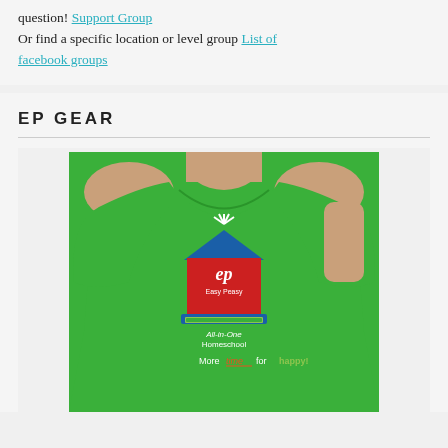Or find a specific location or level group List of facebook groups
EP GEAR
[Figure (photo): Woman wearing a green t-shirt with the Easy Peasy All-in-One Homeschool logo. The shirt shows a house logo with 'EP Easy Peasy All-in-One Homeschool More time for happy!' text.]